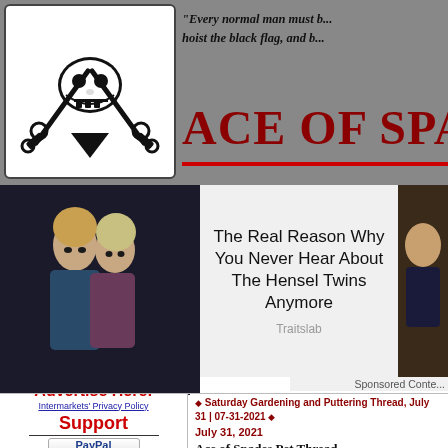[Figure (logo): Pirate skull and crossbones logo in black and white inside rounded rectangle border]
"Every normal man must b... hoist the black flag, and b...
Ace of Spa...
[Figure (photo): Two women (conjoined twins Hensel) posing together in dark studio setting]
The Real Reason Why You Never Hear About The Hensel Twins Anymore
Traitslab
Sponsored Conte...
Saturday Gardening and Puttering Thread, July 31 | 07-31-2021
July 31, 2021
Ace of Spades Pet Thread
Advertise Here!
Intermarkets' Privacy Policy
Support
[Figure (logo): PayPal Donate button]